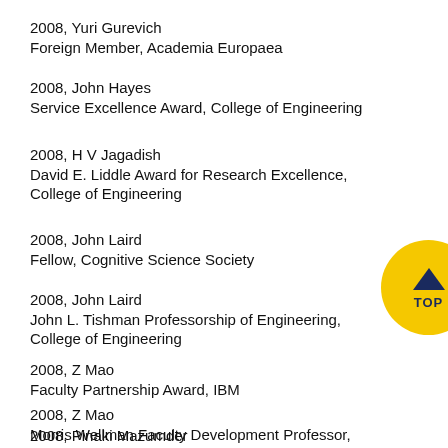2008, Yuri Gurevich
Foreign Member, Academia Europaea
2008, John Hayes
Service Excellence Award, College of Engineering
2008, H V Jagadish
David E. Liddle Award for Research Excellence, College of Engineering
2008, John Laird
Fellow, Cognitive Science Society
2008, John Laird
John L. Tishman Professorship of Engineering, College of Engineering
2008, Z Mao
Faculty Partnership Award, IBM
2008, Z Mao
Morris Wellman Faculty Development Professor, CSE
2008, Pinaki Mazumder